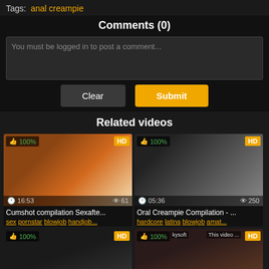Tags: anal creampie
Comments (0)
You must be logged in to post a comment...
Clear | Submit
Related videos
[Figure (screenshot): Video thumbnail - Cumshot compilation Sexafte... 16:53 duration 61 views 100% HD]
Cumshot compilation Sexafte...
sex pornstar blowjob handjob...
[Figure (screenshot): Video thumbnail - Oral Creampie Compilation - ... 05:36 duration 250 views 100% HD]
Oral Creampie Compilation - ...
hardcore latina blowjob amat...
[Figure (screenshot): Video thumbnail - 100% HD bottom left]
[Figure (screenshot): Video thumbnail - 100% kysoft watermark bottom right]